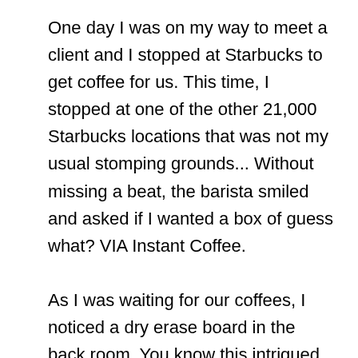One day I was on my way to meet a client and I stopped at Starbucks to get coffee for us. This time, I stopped at one of the other 21,000 Starbucks locations that was not my usual stomping grounds... Without missing a beat, the barista smiled and asked if I wanted a box of guess what? VIA Instant Coffee.

As I was waiting for our coffees, I noticed a dry erase board in the back room. You know this intrigued me, so I peeked around the corner and I was shocked when I read what was written. It said something to the effect of:

"Top Store In The Market For VIA Sales This Month